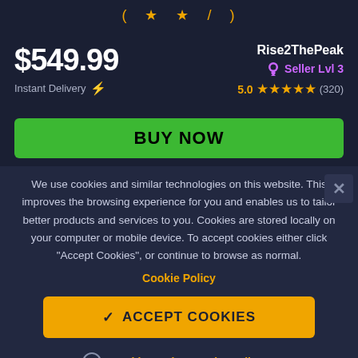$549.99
Instant Delivery ⚡
Rise2ThePeak
🏅 Seller Lvl 3
5.0 ★★★★★ (320)
BUY NOW
We use cookies and similar technologies on this website. This improves the browsing experience for you and enables us to tailor better products and services to you. Cookies are stored locally on your computer or mobile device. To accept cookies either click "Accept Cookies", or continue to browse as normal.
Cookie Policy
✓ ACCEPT COOKIES
Cookie Settings and Details ▼